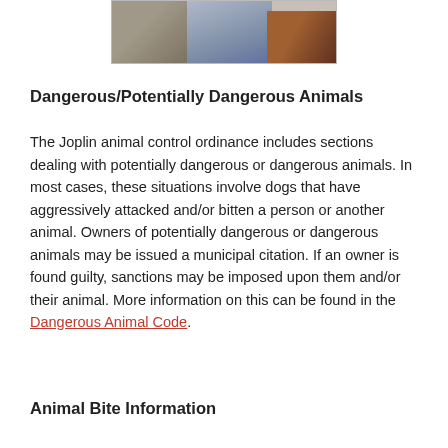[Figure (photo): Partial photo showing a tire, a person in jeans and scarf, and a dog (dark/tan colored) being handled near a vehicle outdoors.]
Dangerous/Potentially Dangerous Animals
The Joplin animal control ordinance includes sections dealing with potentially dangerous or dangerous animals. In most cases, these situations involve dogs that have aggressively attacked and/or bitten a person or another animal. Owners of potentially dangerous or dangerous animals may be issued a municipal citation. If an owner is found guilty, sanctions may be imposed upon them and/or their animal. More information on this can be found in the Dangerous Animal Code.
Animal Bite Information
If a person is bit by an animal, domestic or wild, a Joplin ACO will investigate the circumstances of the bite once they are